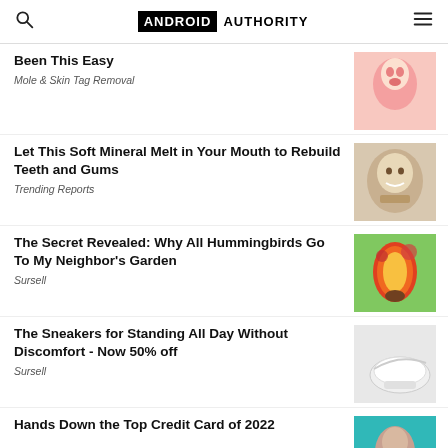ANDROID AUTHORITY
Been This Easy
Mole & Skin Tag Removal
Let This Soft Mineral Melt in Your Mouth to Rebuild Teeth and Gums
Trending Reports
The Secret Revealed: Why All Hummingbirds Go To My Neighbor's Garden
Sursell
The Sneakers for Standing All Day Without Discomfort - Now 50% off
Sursell
Hands Down the Top Credit Card of 2022